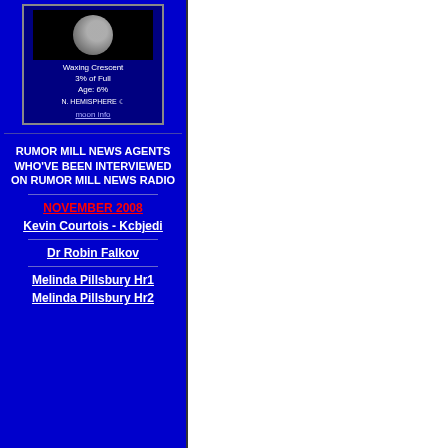[Figure (illustration): Moon phase widget showing waxing crescent moon, 3% of Full, Age: 6%, N. Hemisphere, with moon info link]
RUMOR MILL NEWS AGENTS WHO'VE BEEN INTERVIEWED ON RUMOR MILL NEWS RADIO
NOVEMBER 2008
Kevin Courtois - Kcbjedi
Dr Robin Falkov
Melinda Pillsbury Hr1
Melinda Pillsbury Hr2